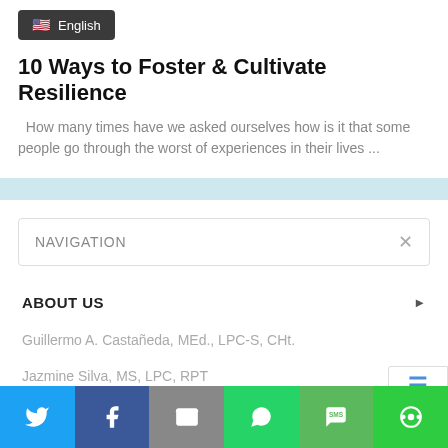[Figure (screenshot): Language selector badge showing US flag and 'English' text on dark background]
10 Ways to Foster & Cultivate Resilience
How many times have we asked ourselves how is it that some people go through the worst of experiences in their lives ...
NAVIGATION
ABOUT US
Guillermo A. Castañeda, MEd., LPC-S, CHt.
Jazmine Silva, MS, LPC, RPT
[Figure (infographic): Social share bar with Twitter, Facebook, Email, WhatsApp, SMS, and More buttons]